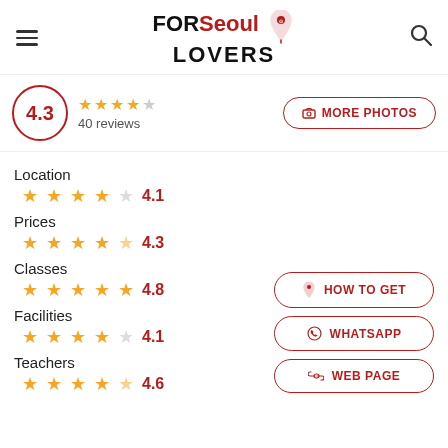FORSeoul LOVERS
4.3 — 40 reviews
MORE PHOTOS
Location 4.1
Prices 4.3
Classes 4.8
Facilities 4.1
Teachers 4.6
HOW TO GET
WHATSAPP
WEB PAGE